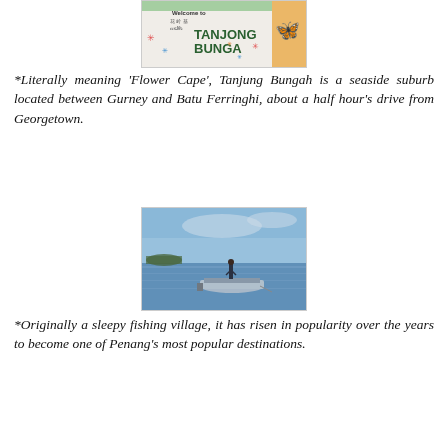[Figure (photo): Welcome to Tanjong Bunga colorful sign with decorative snowflake/star patterns and a butterfly on an orange background]
*Literally meaning 'Flower Cape', Tanjung Bungah is a seaside suburb located between Gurney and Batu Ferringhi, about a half hour's drive from Georgetown.
[Figure (photo): A person standing on a small boat on calm blue sea water at dusk with an island visible in the background]
*Originally a sleepy fishing village, it has risen in popularity over the years to become one of Penang's most popular destinations.